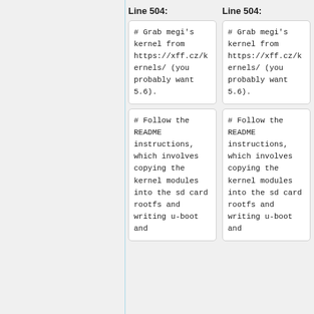Line 504:
Line 504:
# Grab megi's kernel from https://xff.cz/kernels/ (you probably want 5.6).
# Grab megi's kernel from https://xff.cz/kernels/ (you probably want 5.6).
# Follow the README instructions, which involves copying the kernel modules into the sd card rootfs and writing u-boot and
# Follow the README instructions, which involves copying the kernel modules into the sd card rootfs and writing u-boot and